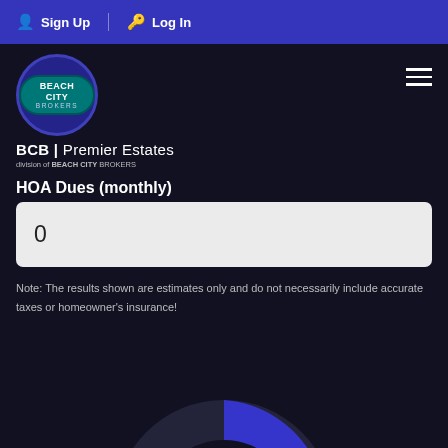Sign Up  Log In
[Figure (logo): Beach City Brokers logo with teal oval, BCB | Premier Estates division of BEACH CITY BROKERS]
HOA Dues (monthly)
0
Note: The results shown are estimates only and do not necessarily include accurate taxes or homeowner's insurance!
[Figure (donut-chart): Large donut chart showing $13,695 Monthly Payment, mostly blue/dark-blue arc]